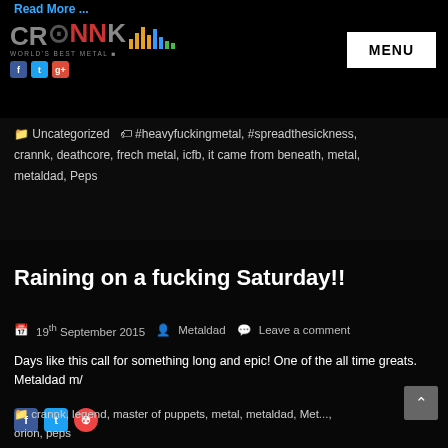Read More ...
[Figure (logo): CRANNK logo with colorful equalizer bars and social media icons]
MENU
🏷 Uncategorized  🏷 #heavyfuckingmetal, #spreadthesickness, crannk, deathcore, frech metal, icfb, it came from beneath, metal, metaldad, Peps
Raining on a fucking Saturday!!
📅 19th September 2015  👤 Metaldad  💬 Leave a comment
Days like this call for something long and epic! One of the all time greats. Metaldad m/
crannk, legend, master of puppets, metal, metaldad, Metallica, orion, peps